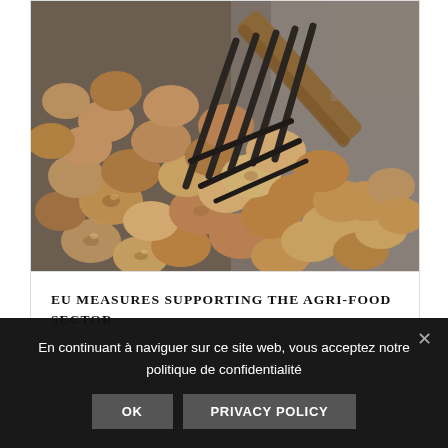[Figure (photo): Overhead photo of many potatoes spilling from a metal wire basket with a wooden handle, on a dark grey surface. The potatoes are light brown/tan, scattered across the frame.]
EU MEASURES SUPPORTING THE AGRI-FOOD SECTOR
En continuant à naviguer sur ce site web, vous acceptez notre politique de confidentialité